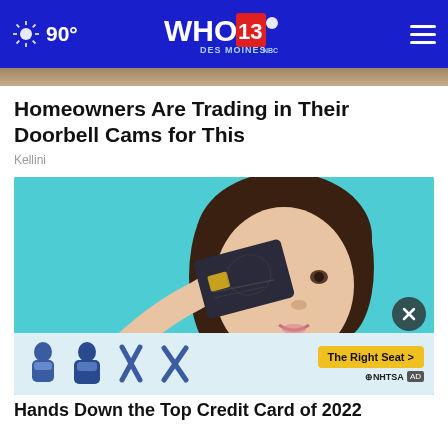WHO 13 DES MOINES — 90°
[Figure (photo): Partial top image strip, brownish tone]
Homeowners Are Trading in Their Doorbell Cams for This
Kellini
[Figure (photo): Young woman with dark hair holding a dark credit card over one eye, teal background, playful expression]
[Figure (infographic): NHTSA 'The Right Seat' ad banner with child seat icons and yellow call-to-action button]
Hands Down the Top Credit Card of 2022